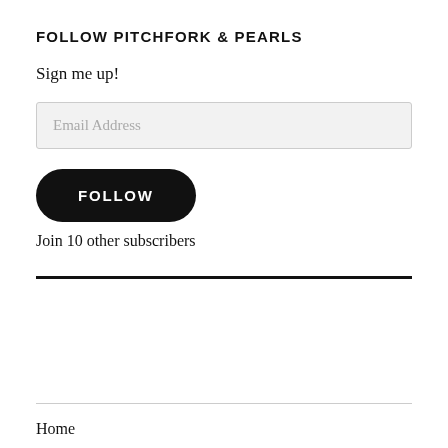FOLLOW PITCHFORK & PEARLS
Sign me up!
Email Address
FOLLOW
Join 10 other subscribers
Home